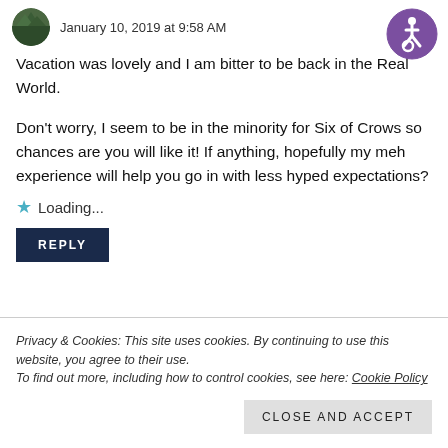January 10, 2019 at 9:58 AM
[Figure (logo): Purple circle with white accessibility icon (wheelchair user symbol)]
Vacation was lovely and I am bitter to be back in the Real World.
Don't worry, I seem to be in the minority for Six of Crows so chances are you will like it! If anything, hopefully my meh experience will help you go in with less hyped expectations?
Loading...
REPLY
Privacy & Cookies: This site uses cookies. By continuing to use this website, you agree to their use.
To find out more, including how to control cookies, see here: Cookie Policy
Close and accept